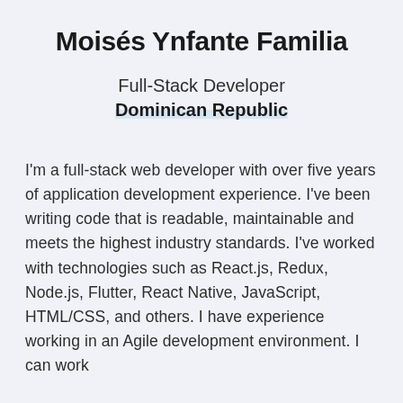Moisés Ynfante Familia
Full-Stack Developer
Dominican Republic
I'm a full-stack web developer with over five years of application development experience. I've been writing code that is readable, maintainable and meets the highest industry standards. I've worked with technologies such as React.js, Redux, Node.js, Flutter, React Native, JavaScript, HTML/CSS, and others. I have experience working in an Agile development environment. I can work